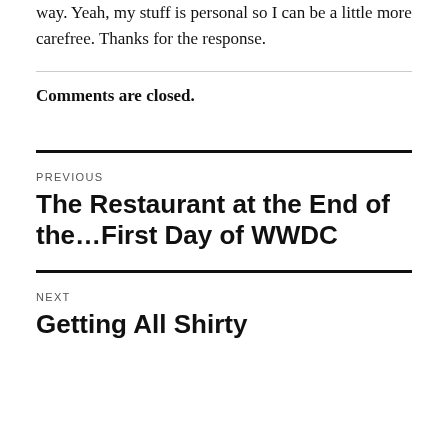way. Yeah, my stuff is personal so I can be a little more carefree. Thanks for the response.
Comments are closed.
PREVIOUS
The Restaurant at the End of the…First Day of WWDC
NEXT
Getting All Shirty